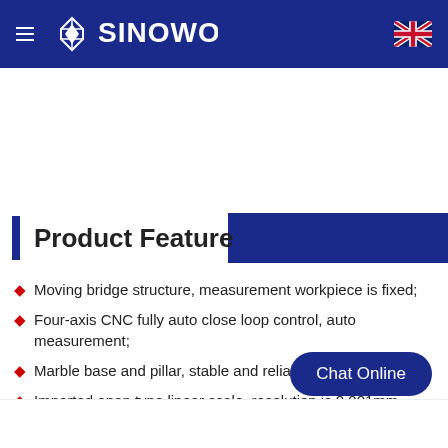SINOWON
Product Feature
Moving bridge structure, measurement workpiece is fixed;
Four-axis CNC fully auto close loop control, auto measurement;
Marble base and pillar, stable and reliable;
Imported open type linear scale, resolution is 0.001mm, high accuracy, great stability;
Imported P grade linear guide, precision grinding ball s…